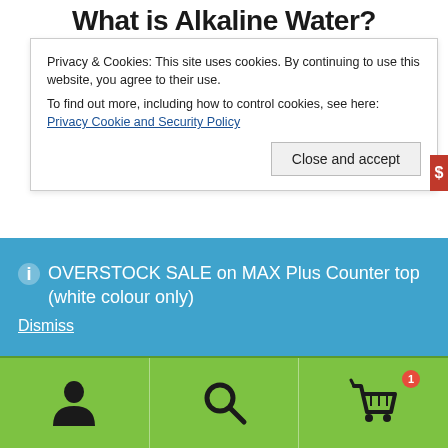What is Alkaline Water?
Privacy & Cookies: This site uses cookies. By continuing to use this website, you agree to their use. To find out more, including how to control cookies, see here: Privacy Cookie and Security Policy
Close and accept
amounts of alkalizing compounds such as calcium, potassium, magnesium, silica, and bicarbonate.
ⓘ OVERSTOCK SALE on MAX Plus Counter top (white colour only)
Dismiss
[Figure (infographic): Green bottom toolbar with three icons: person/account icon, search magnifier icon, and shopping cart icon with a red badge showing '1']